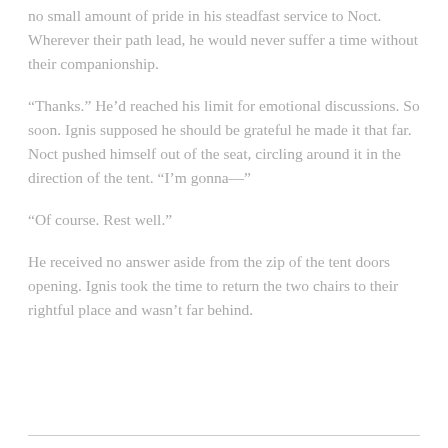no small amount of pride in his steadfast service to Noct. Wherever their path lead, he would never suffer a time without their companionship.
“Thanks.” He’d reached his limit for emotional discussions. So soon. Ignis supposed he should be grateful he made it that far. Noct pushed himself out of the seat, circling around it in the direction of the tent. “I’m gonna—”
“Of course. Rest well.”
He received no answer aside from the zip of the tent doors opening. Ignis took the time to return the two chairs to their rightful place and wasn’t far behind.